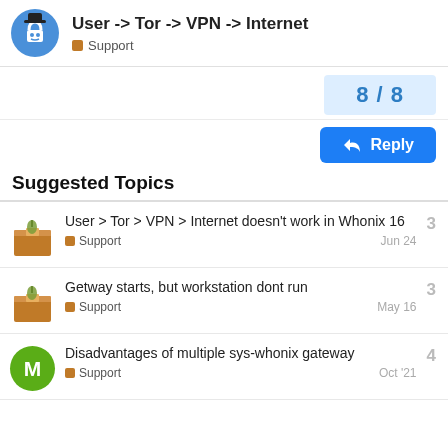User -> Tor -> VPN -> Internet — Support
8 / 8
Reply
Suggested Topics
User > Tor > VPN > Internet doesn't work in Whonix 16 — Support — Jun 24 — 3
Getway starts, but workstation dont run — Support — May 16 — 3
Disadvantages of multiple sys-whonix gateway — Support — Oct '21 — 4